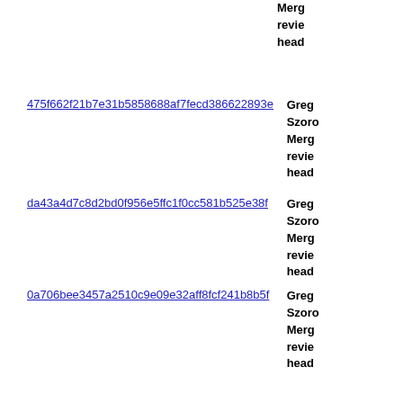Merge review head
475f662f21b7e31b5858688af7fecd386622893e
Greg Szoro Merge review head
da43a4d7c8d2bd0f956e5ffc1f0cc581b525e38f
Greg Szoro Merge review head
0a706bee3457a2510c9e09e32aff8fcf241b8b5f
Greg Szoro Merge review head
3cb72b5ad4f56752da7f724da9f9f910c3641e9a
Greg Szoro Merge review head
009b36fe5db2e55ea0c461cf9af6fd482bc7c162
Greg Szoro Merge review head
5bb5ad60ad144209bedee54b0c7125f2726cb935
Greg Szoro Merg